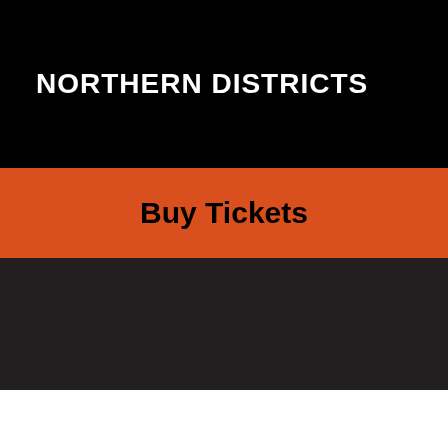NORTHERN DISTRICTS
Buy Tickets